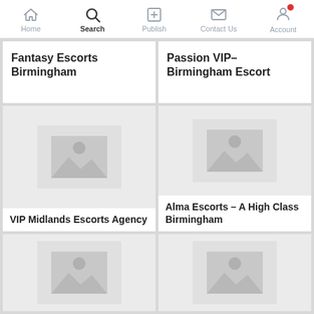Home | Search | Publish | Contact Us | Account
Fantasy Escorts Birmingham
Passion VIP- Birmingham Escort
[Figure (photo): Image placeholder for VIP Midlands Escorts Agency listing]
VIP Midlands Escorts Agency
[Figure (photo): Image placeholder for Alma Escorts listing]
Alma Escorts - A High Class Birmingham
[Figure (photo): Image placeholder for bottom-left listing]
[Figure (photo): Image placeholder for bottom-right listing]